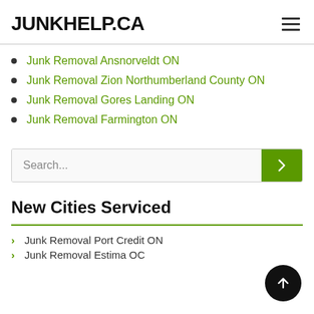JUNKHELP.CA
Junk Removal Ansnorveldt ON
Junk Removal Zion Northumberland County ON
Junk Removal Gores Landing ON
Junk Removal Farmington ON
[Figure (other): Search bar with green submit button and arrow icon]
New Cities Serviced
Junk Removal Port Credit ON
Junk Removal Estima OC